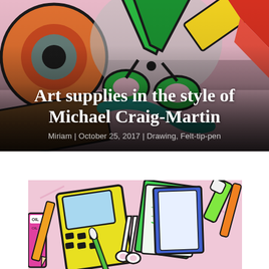[Figure (illustration): Colorful illustration in the style of Michael Craig-Martin showing art supplies including scissors, tape, ruler, pencils in bold flat colors with black outlines. The image has a dark gradient overlay at the bottom with white title text overlaid.]
Art supplies in the style of Michael Craig-Martin
Miriam | October 25, 2017 | Drawing, Felt-tip-pen
[Figure (illustration): Colorful illustration showing art supplies including oil paint tubes, a calculator/palette, scissors, notebooks and art supplies in bold flat colors with black outlines on a pink background, in the style of Michael Craig-Martin.]